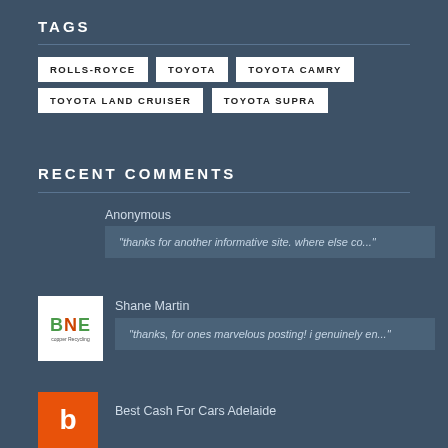TAGS
ROLLS-ROYCE
TOYOTA
TOYOTA CAMRY
TOYOTA LAND CRUISER
TOYOTA SUPRA
RECENT COMMENTS
Anonymous
"thanks for another informative site. where else co..."
[Figure (logo): BNE logo with orange and green text]
Shane Martin
"thanks, for ones marvelous posting! i genuinely en..."
[Figure (logo): Orange blogger avatar icon]
Best Cash For Cars Adelaide